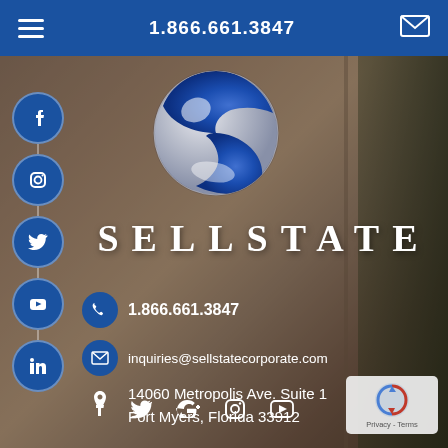1.866.661.3847
[Figure (logo): Sellstate real estate logo — a blue and silver yin-yang style S sphere]
SELLSTATE
1.866.661.3847
inquiries@sellstatecorporate.com
14060 Metropolis Ave. Suite 1
Fort Myers, Florida 33912
[Figure (screenshot): reCAPTCHA badge widget, bottom right corner]